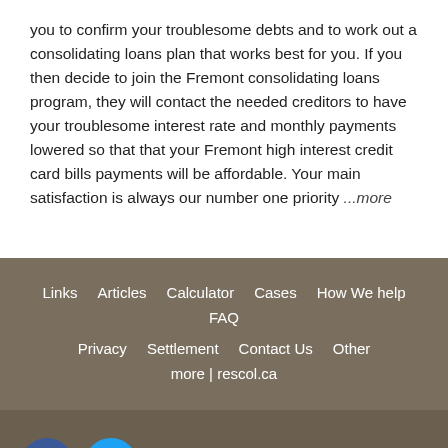you to confirm your troublesome debts and to work out a consolidating loans plan that works best for you. If you then decide to join the Fremont consolidating loans program, they will contact the needed creditors to have your troublesome interest rate and monthly payments lowered so that that your Fremont high interest credit card bills payments will be affordable. Your main satisfaction is always our number one priority ...more
Links   Articles   Calculator   Cases   How We help   FAQ   Privacy   Settlement   Contact Us   Other   more | rescol.ca
© 2022 Mycdc.org All rights reserved.